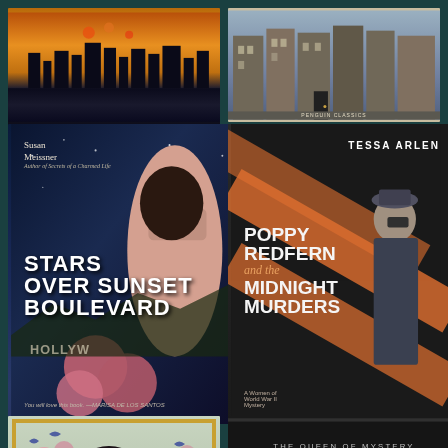[Figure (illustration): Book cover: F. Scott Fitzgerald novel with cityscape and fire reflected in water at night]
[Figure (illustration): Book cover: Penguin Classics edition showing a row of Georgian townhouses/buildings on a street]
[Figure (illustration): Book cover: Stars Over Sunset Boulevard by Susan Meissner, Author of Secrets of a Charmed Life. Text reads: STARS OVER SUNSET BOULEVARD. Hollywood sign visible. Pink peonies. Quote: You will love this book. —Marisa de los Santos]
[Figure (illustration): Book cover: Poppy Redfern and the Midnight Murders by Tessa Arlen. Orange and dark diagonal stripes, woman in 1940s attire with binoculars. Subtitle: A Women of World War II Mystery]
[Figure (illustration): Book cover: Pulitzer Prize Finalist. Painting of a dark-haired young woman with birds and flowers, gold ornate frame border. Gold medallion badge.]
[Figure (illustration): Book cover: Agatha Christie — The Queen of Mystery. Black background with yellow/gold cursive script. Orange horizontal line accent.]